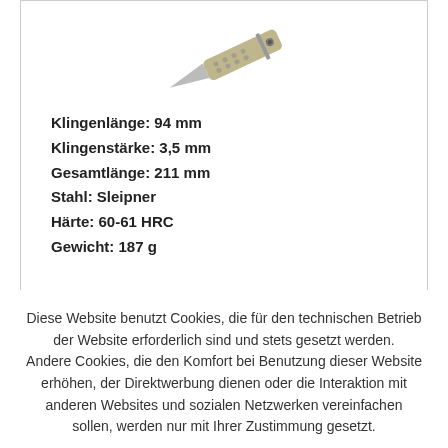[Figure (photo): Partial view of a folding knife with textured handle, shown at an angle against a white background]
Klingenlänge: 94 mm
Klingenstärke: 3,5 mm
Gesamtlänge: 211 mm
Stahl: Sleipner
Härte: 60-61 HRC
Gewicht: 187 g
Diese Website benutzt Cookies, die für den technischen Betrieb der Website erforderlich sind und stets gesetzt werden. Andere Cookies, die den Komfort bei Benutzung dieser Website erhöhen, der Direktwerbung dienen oder die Interaktion mit anderen Websites und sozialen Netzwerken vereinfachen sollen, werden nur mit Ihrer Zustimmung gesetzt.
Weitere Informationen in der Datenschutzerklärung.